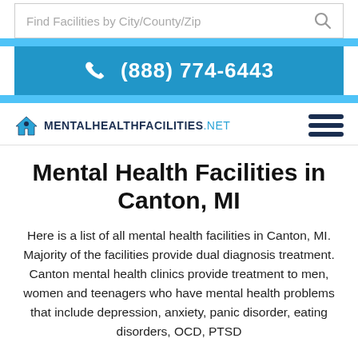Find Facilities by City/County/Zip
(888) 774-6443
[Figure (logo): MentalHealthFacilities.net logo with home icon and hamburger menu]
Mental Health Facilities in Canton, MI
Here is a list of all mental health facilities in Canton, MI. Majority of the facilities provide dual diagnosis treatment. Canton mental health clinics provide treatment to men, women and teenagers who have mental health problems that include depression, anxiety, panic disorder, eating disorders, OCD, PTSD